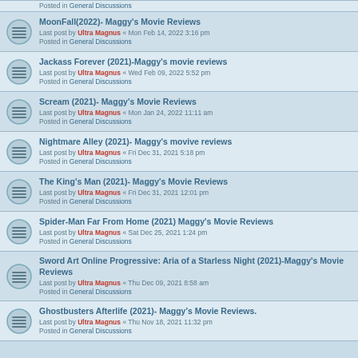Posted in General Discussions
MoonFall(2022)- Maggy's Movie Reviews
Last post by Ultra Magnus « Mon Feb 14, 2022 3:16 pm
Posted in General Discussions
Jackass Forever (2021)-Maggy's movie reviews
Last post by Ultra Magnus « Wed Feb 09, 2022 5:52 pm
Posted in General Discussions
Scream (2021)- Maggy's Movie Reviews
Last post by Ultra Magnus « Mon Jan 24, 2022 11:11 am
Posted in General Discussions
Nightmare Alley (2021)- Maggy's movive reviews
Last post by Ultra Magnus « Fri Dec 31, 2021 5:18 pm
Posted in General Discussions
The King's Man (2021)- Maggy's Movie Reviews
Last post by Ultra Magnus « Fri Dec 31, 2021 12:01 pm
Posted in General Discussions
Spider-Man Far From Home (2021) Maggy's Movie Reviews
Last post by Ultra Magnus « Sat Dec 25, 2021 1:24 pm
Posted in General Discussions
Sword Art Online Progressive: Aria of a Starless Night (2021)-Maggy's Movie Reviews
Last post by Ultra Magnus « Thu Dec 09, 2021 8:58 am
Posted in General Discussions
Ghostbusters Afterlife (2021)- Maggy's Movie Reviews.
Last post by Ultra Magnus « Thu Nov 18, 2021 11:32 pm
Posted in General Discussions